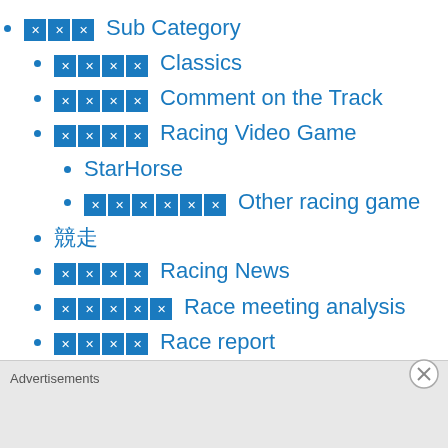🔲🔲🔲 Sub Category
🔲🔲🔲🔲 Classics
🔲🔲🔲🔲 Comment on the Track
🔲🔲🔲🔲 Racing Video Game
StarHorse
🔲🔲🔲🔲🔲🔲 Other racing game
競走
🔲🔲🔲🔲 Racing News
🔲🔲🔲🔲🔲 Race meeting analysis
🔲🔲🔲🔲 Race report
🔲🔲🔲🔲🔲 Simulcast Races Infomation
競馬
🔲🔲🔲🔲 History Thoroughbreds
Advertisements